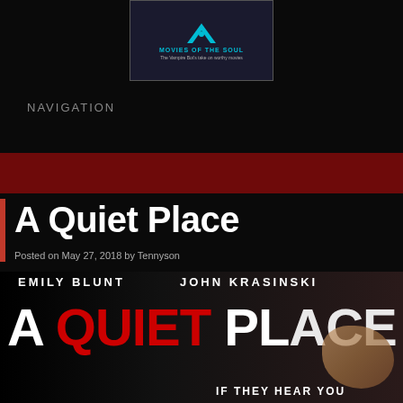[Figure (logo): Movies of the Soul logo — diamond/chevron shape in teal above text reading MOVIES OF THE SOUL, subtitle: The Vampire Bot's take on worthy movies]
NAVIGATION
[Figure (illustration): Dark red/maroon horizontal banner bar]
A Quiet Place
Posted on May 27, 2018 by Tennyson
[Figure (photo): A Quiet Place movie poster showing EMILY BLUNT  JOHN KRASINSKI above large text A QUIET PLACE with QUIET in red, and a girl covering her mouth on the right side. Tagline IF THEY HEAR YOU at bottom.]